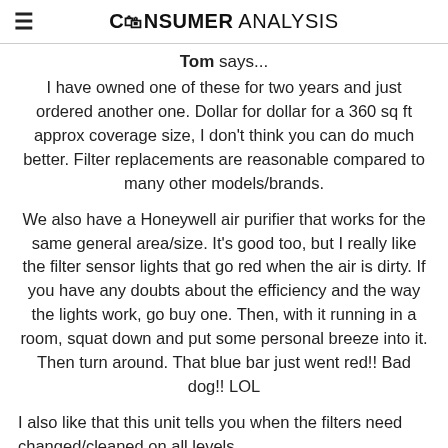CONSUMER ANALYSIS
Tom says...
I have owned one of these for two years and just ordered another one. Dollar for dollar for a 360 sq ft approx coverage size, I don't think you can do much better. Filter replacements are reasonable compared to many other models/brands.
We also have a Honeywell air purifier that works for the same general area/size. It's good too, but I really like the filter sensor lights that go red when the air is dirty. If you have any doubts about the efficiency and the way the lights work, go buy one. Then, with it running in a room, squat down and put some personal breeze into it. Then turn around. That blue bar just went red!! Bad dog!! LOL
I also like that this unit tells you when the filters need changed/cleaned on all levels.